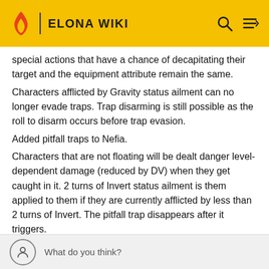ELONA WIKI
special actions that have a chance of decapitating their target and the equipment attribute remain the same.
Characters afflicted by Gravity status ailment can no longer evade traps. Trap disarming is still possible as the roll to disarm occurs before trap evasion.
Added pitfall traps to Nefia.
Characters that are not floating will be dealt danger level-dependent damage (reduced by DV) when they get caught in it. 2 turns of Invert status ailment is them applied to them if they are currently afflicted by less than 2 turns of Invert. The pitfall trap disappears after it triggers.
What do you think?